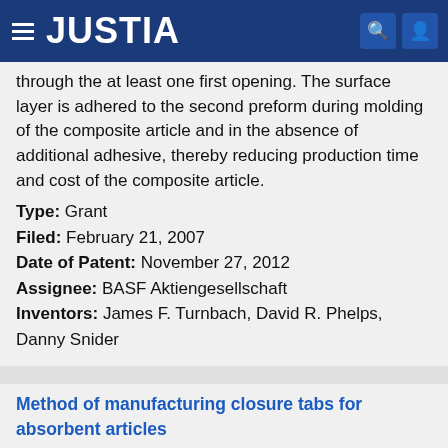JUSTIA
through the at least one first opening. The surface layer is adhered to the second preform during molding of the composite article and in the absence of additional adhesive, thereby reducing production time and cost of the composite article.
Type: Grant
Filed: February 21, 2007
Date of Patent: November 27, 2012
Assignee: BASF Aktiengesellschaft
Inventors: James F. Turnbach, David R. Phelps, Danny Snider
Method of manufacturing closure tabs for absorbent articles
Patent number: RE47299
Abstract: A closure tab is provided and includes a first substrate. A second substrate is adhesively attached to